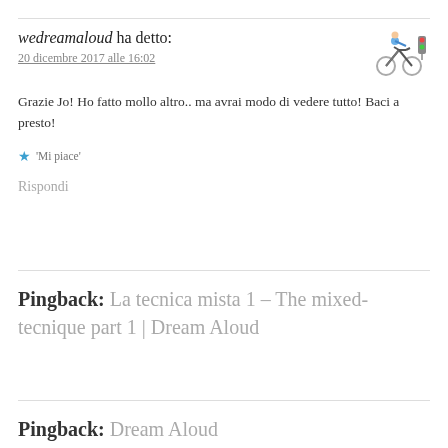wedreamaloud ha detto:
20 dicembre 2017 alle 16:02
Grazie Jo! Ho fatto mollo altro.. ma avrai modo di vedere tutto! Baci a presto!
★ 'Mi piace'
Rispondi
Pingback: La tecnica mista 1 – The mixed-tecnique part 1 | Dream Aloud
Pingback: Dream Aloud